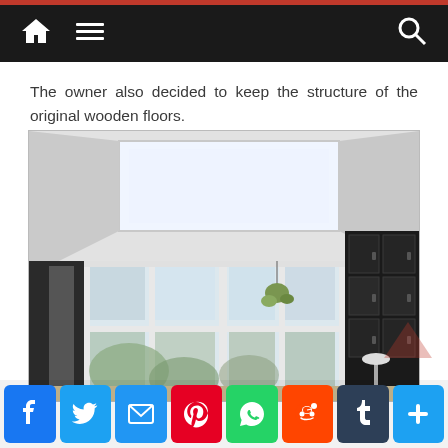Navigation bar with home, menu, and search icons
The owner also decided to keep the structure of the original wooden floors.
[Figure (photo): Interior room photo showing a bright space with skylights in the ceiling, large floor-to-ceiling windows/glass doors leading to a balcony, and dark cabinetry on the right side. A hanging plant is visible near the window.]
Social sharing bar with Facebook, Twitter, Email, Pinterest, WhatsApp, Reddit, Tumblr, More buttons